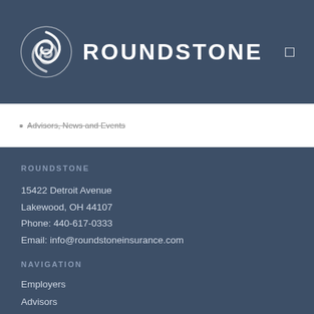ROUNDSTONE
Advisors, News and Events
ROUNDSTONE
15422 Detroit Avenue
Lakewood, OH 44107
Phone: 440-617-0333
Email: info@roundstoneinsurance.com
NAVIGATION
Employers
Advisors
Roundstone University